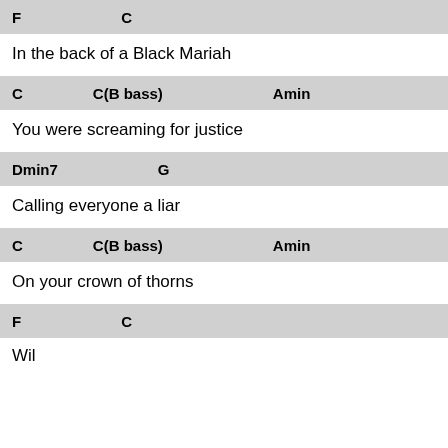F    C
In the back of a Black Mariah
C    C(B bass)    Amin
You were screaming for justice
Dmin7    G
Calling everyone a liar
C    C(B bass)    Amin
On your crown of thorns
F    C
Wil...